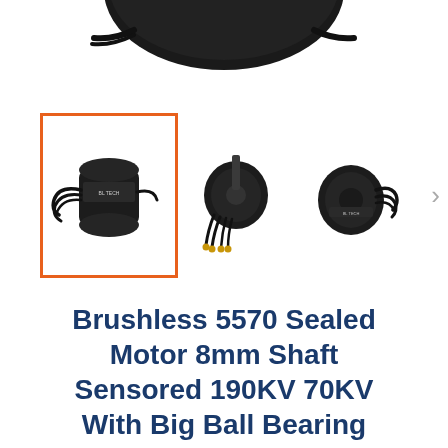[Figure (photo): Partial top view of a brushless motor with black body and cables, cropped at top of page]
[Figure (photo): Product thumbnail image gallery showing three views of a brushless 5570 sealed motor. First thumbnail (selected, with orange border): side view showing motor body with cables. Second thumbnail: front/shaft view with wires. Third thumbnail: another angle showing motor back.]
Brushless 5570 Sealed Motor 8mm Shaft Sensored 190KV 70KV With Big Ball Bearing